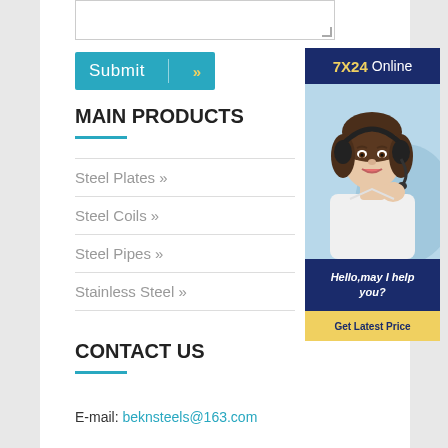[Figure (other): Text input/textarea form field at the top of the page]
[Figure (other): Teal 'Submit' button with right-arrow chevron symbol]
[Figure (other): Dark navy '7X24 Online' banner with customer service representative photo and 'Hello, may I help you? Get Latest Price' call-to-action panel]
MAIN PRODUCTS
Steel Plates »
Steel Coils »
Steel Pipes »
Stainless Steel »
CONTACT US
E-mail: beknsteels@163.com